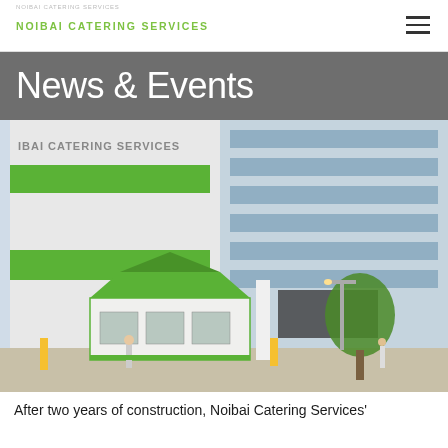NOIBAI CATERING SERVICES
News & Events
[Figure (photo): Exterior photograph of Noibai Catering Services building — a modern multi-story facility with green horizontal stripe accents on white facade, blue-tinted glass windows, a green-roofed security booth at the entrance, trees, and people walking outside.]
After two years of construction, Noibai Catering Services'